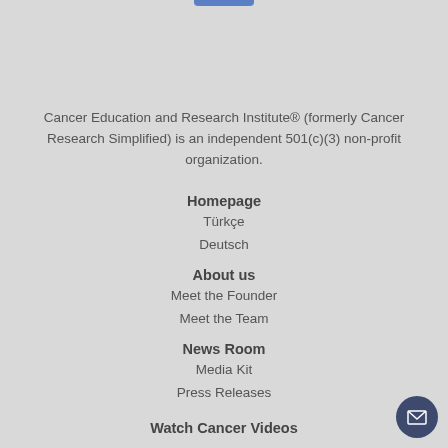Cancer Education and Research Institute® (formerly Cancer Research Simplified) is an independent 501(c)(3) non-profit organization.
Homepage
Türkçe
Deutsch
About us
Meet the Founder
Meet the Team
News Room
Media Kit
Press Releases
Watch Cancer Videos